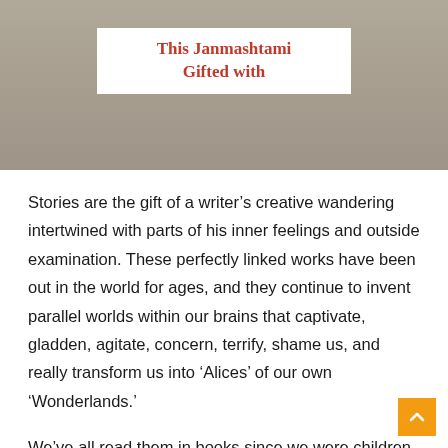[Figure (photo): A photograph showing a child in red traditional Indian attire holding books, with colorful books visible. A white overlay box in the center contains text 'This Janmashtami Gifted with' in orange/red bold font.]
Stories are the gift of a writer’s creative wandering intertwined with parts of his inner feelings and outside examination. These perfectly linked works have been out in the world for ages, and they continue to invent parallel worlds within our brains that captivate, gladden, agitate, concern, terrify, shame us, and really transform us into ‘Alices’ of our own ‘Wonderlands.’
We’ve all read them in books since we were children, we’ve all seen them on television, and